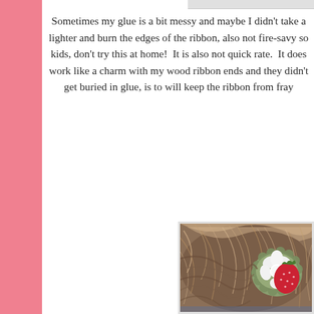Sometimes my glue is a bit messy and maybe I didn't take a lighter and burn the edges of the ribbon, also not fire-savy so kids, don't try this at home!  It is also not quick rate.  It does work like a charm with my wood ribbon ends and they didn't get buried in glue, is to will keep the ribbon from fray
[Figure (photo): Close-up photo of a child's hair with a decorative hair clip featuring a green scalloped felt base, a white flower, and a red strawberry-patterned embellishment]